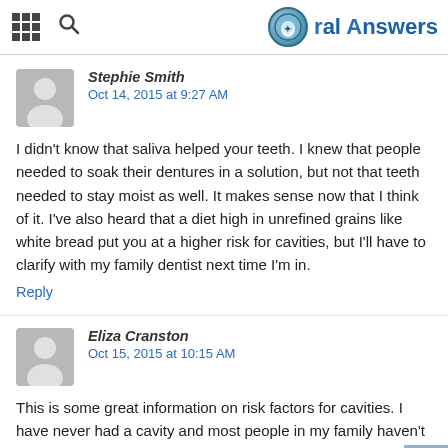Oral Answers
Stephie Smith
Oct 14, 2015 at 9:27 AM
I didn't know that saliva helped your teeth. I knew that people needed to soak their dentures in a solution, but not that teeth needed to stay moist as well. It makes sense now that I think of it. I've also heard that a diet high in unrefined grains like white bread put you at a higher risk for cavities, but I'll have to clarify with my family dentist next time I'm in.
Reply
Eliza Cranston
Oct 15, 2015 at 10:15 AM
This is some great information on risk factors for cavities. I have never had a cavity and most people in my family haven't either. However, my cousin who had never had a cavity before started dating a guy that